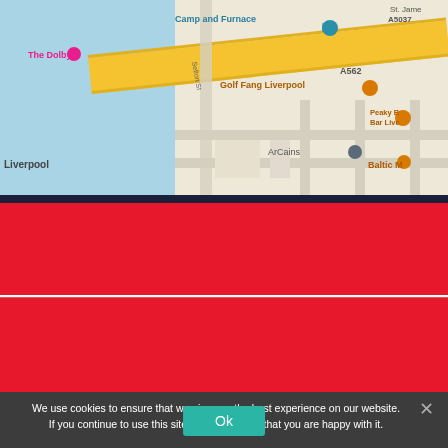[Figure (map): Google Maps screenshot showing area around Baltic Triangle, Liverpool. Shows Camp and Furnace, The Dolby, Golf Fang Liverpool, ArCains, Peaky Bar Liverpool, Baltic Market. Roads including A562, A5037, Sefton St visible. Water (River Mersey) on left side.]
Call Our Team Now
0151 218 7230
Lines Open 9.00am – 9.00pm
We use cookies to ensure that we give you the best experience on our website. If you continue to use this site we will assume that you are happy with it.